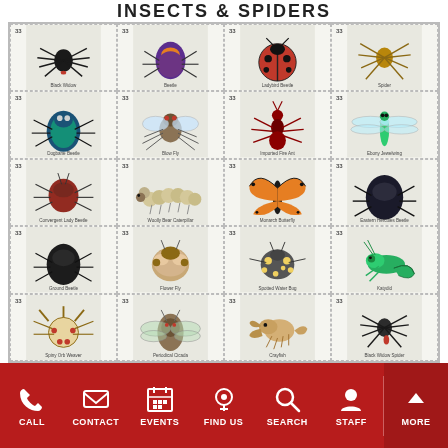INSECTS & SPIDERS
[Figure (photo): A 4x5 grid of US postage stamps showing various insects and spiders including black widow, beetles, ladybug, spiders, flies, caterpillar, butterfly, grasshopper, and other insects. Each stamp shows '33' denomination.]
CALL | CONTACT | EVENTS | FIND US | SEARCH | STAFF | MORE